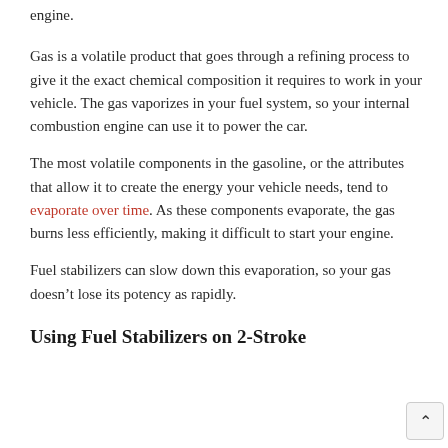engine.
Gas is a volatile product that goes through a refining process to give it the exact chemical composition it requires to work in your vehicle. The gas vaporizes in your fuel system, so your internal combustion engine can use it to power the car.
The most volatile components in the gasoline, or the attributes that allow it to create the energy your vehicle needs, tend to evaporate over time. As these components evaporate, the gas burns less efficiently, making it difficult to start your engine.
Fuel stabilizers can slow down this evaporation, so your gas doesn’t lose its potency as rapidly.
Using Fuel Stabilizers on 2-Stroke